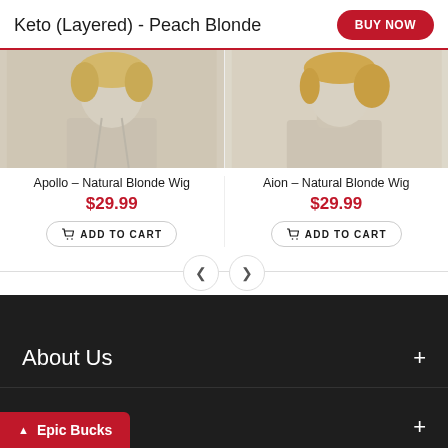Keto (Layered) - Peach Blonde
[Figure (photo): Two mannequin heads wearing short blonde wigs, displayed side by side]
Apollo - Natural Blonde Wig
$29.99
ADD TO CART
Aion - Natural Blonde Wig
$29.99
ADD TO CART
About Us
Follow Us